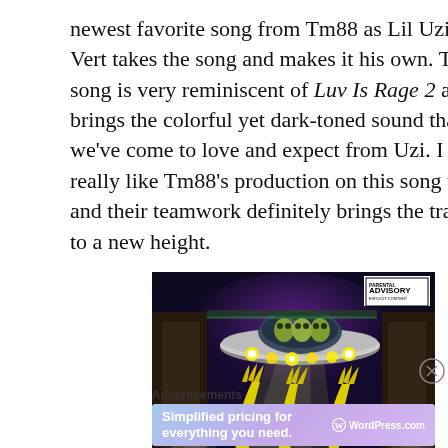newest favorite song from Tm88 as Lil Uzi Vert takes the song and makes it his own. The song is very reminiscent of Luv Is Rage 2 and brings the colorful yet dark-toned sound that we've come to love and expect from Uzi. I really like Tm88's production on this song too and their teamwork definitely brings the track to a new height.
[Figure (illustration): Album artwork showing a UFO/flying saucer with alien figures inside, yellow glowing hands reaching up, bright stage lights, dark background with purple and teal hues. Parental Advisory Explicit Content label in top right.]
Advertisements
[Figure (screenshot): WordPress.com advertisement banner with gradient purple-blue background. Text reads 'Simplified pricing for everything you need.' with WordPress.com logo on the right.]